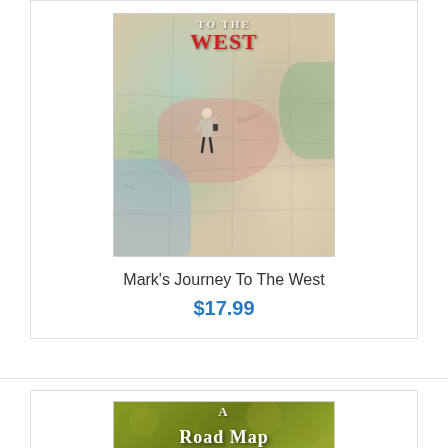[Figure (photo): Book cover for 'Mark's Journey To The West' showing a miniature figure of a person standing on a vintage map, with text 'TO THE WEST' displayed prominently]
Mark's Journey To The West
$17.99
[Figure (photo): Partial book cover on olive/yellow-green background showing text 'A Road Map' (partially visible)]